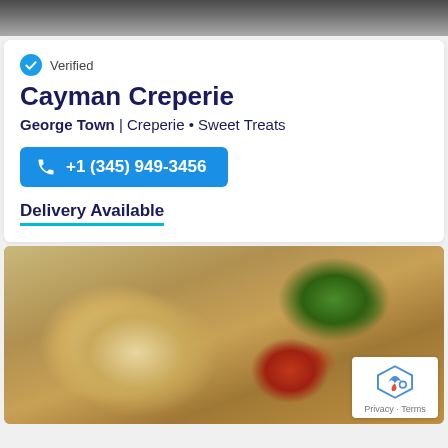[Figure (photo): Top banner photo showing background scene (partially visible, dark/blurred)]
Verified
Cayman Creperie
George Town | Creperie • Sweet Treats
+1 (345) 949-3456
Delivery Available
[Figure (photo): Food photo showing crepes/flatbread rolls on a white plate with lettuce garnish and a bowl of orange curry/sauce with toppings, with a reCAPTCHA badge overlay in bottom-right corner]